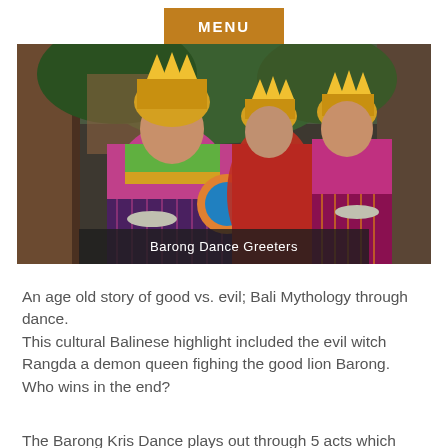MENU
[Figure (photo): Three Balinese women wearing traditional gold headdresses and colorful costumes including pink, green, purple and gold fabrics, holding ceremonial fans and plates, posing outdoors in front of a temple setting]
Barong Dance Greeters
An age old story of good vs. evil; Bali Mythology through dance.
This cultural Balinese highlight included the evil witch Rangda a demon queen fighing the good lion Barong. Who wins in the end?
The Barong Kris Dance plays out through 5 acts which